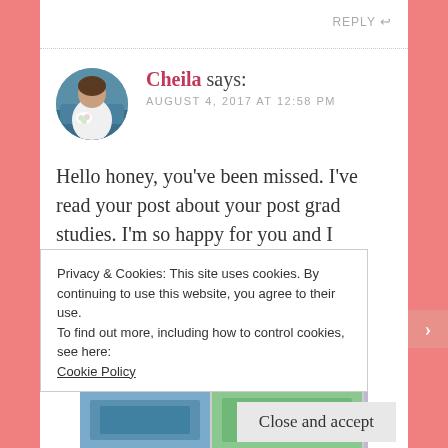REPLY ↩
[Figure (photo): Circular avatar photo of Cheila, a woman in a wedding dress holding a bouquet, with a blue vintage car in the background]
Cheila says:
AUGUST 4, 2017 AT 12:58 PM
Hello honey, you've been missed. I've read your post about your post grad studies. I'm so happy for you and I imagine you'll be super busy. It'll be a treat for us, every time you post. I do watch This Is Us. I forgot it
Privacy & Cookies: This site uses cookies. By continuing to use this website, you agree to their use.
To find out more, including how to control cookies, see here:
Cookie Policy
Close and accept